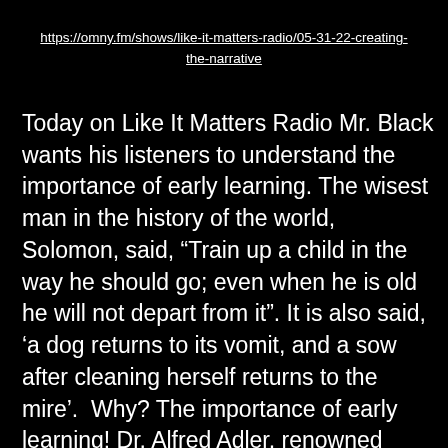https://omny.fm/shows/like-it-matters-radio/05-31-22-creating-the-narrative
Today on Like It Matters Radio Mr. Black wants his listeners to understand the importance of early learning. The wisest man in the history of the world, Solomon, said, “Train up a child in the way he should go; even when he is old he will not depart from it”. It is also said, ‘a dog returns to its vomit, and a sow after cleaning herself returns to the mire’.  Why? The importance of early learning! Dr, Alfred Adler, renowned psychotherapist and founder of the 1st school of individual Psychology said that by the time a child is 5-years old a majority of their map of reality is in place. As